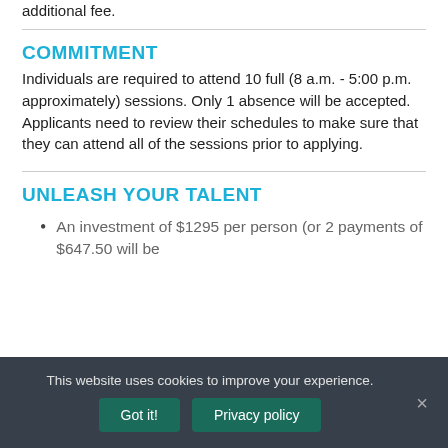additional fee.
COMMITMENT
Individuals are required to attend 10 full (8 a.m. - 5:00 p.m. approximately) sessions. Only 1 absence will be accepted. Applicants need to review their schedules to make sure that they can attend all of the sessions prior to applying.
UNLEASH YOUR TALENT
An investment of $1295 per person (or 2 payments of $647.50 will be
This website uses cookies to improve your experience.